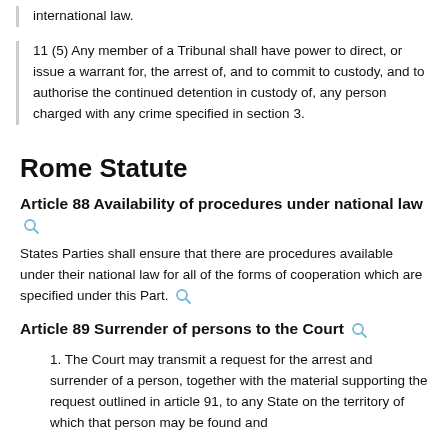international law.
11 (5) Any member of a Tribunal shall have power to direct, or issue a warrant for, the arrest of, and to commit to custody, and to authorise the continued detention in custody of, any person charged with any crime specified in section 3.
Rome Statute
Article 88 Availability of procedures under national law
States Parties shall ensure that there are procedures available under their national law for all of the forms of cooperation which are specified under this Part.
Article 89 Surrender of persons to the Court
1.  The Court may transmit a request for the arrest and surrender of a person, together with the material supporting the request outlined in article 91, to any State on the territory of which that person may be found and